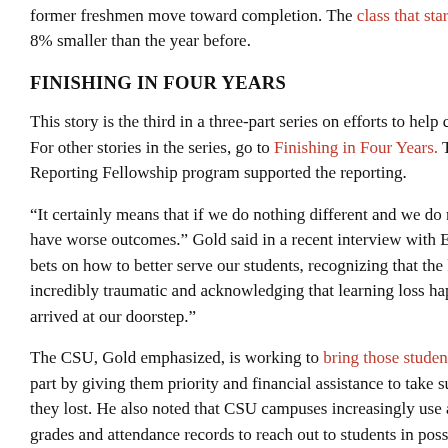former freshmen move toward completion. The class that started in [year was] 8% smaller than the year before.
FINISHING IN FOUR YEARS
This story is the third in a three-part series on efforts to help college students. For other stories in the series, go to Finishing in Four Years. The Ed[ucation] Reporting Fellowship program supported the reporting.
“It certainly means that if we do nothing different and we do not act [we] have worse outcomes.” Gold said in a recent interview with EdSourc[e] bets on how to better serve our students, recognizing that the last fe[w years were] incredibly traumatic and acknowledging that learning loss happened [when they] arrived at our doorstep.”
The CSU, Gold emphasized, is working to bring those students bac[k] in part by giving them priority and financial assistance to take summe[r courses] they lost. He also noted that CSU campuses increasingly use an ea[rly alert] grades and attendance records to reach out to students in possible [trouble and] offer them some advising and tutoring help.
Even with any temporary reversals, Gold said he is confident that th[e CSU is on track] to reach the goals of its Graduation Initiative 2025. So far, the four-y[ear rate for] freshmen across the system rose from 19% in 2015, before the initia[tive’s launch,] year, with a goal of 40% by 2025. The six-year rate moved from 57%[...] Those are systemwide numbers. Campuses show a wide variety o[f outcomes.]